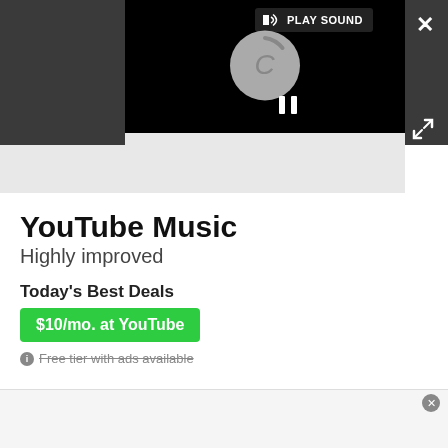[Figure (screenshot): Video player overlay with dark background, loading spinner circle, PLAY SOUND tooltip, pause icon, close button (X), and expand icon]
YouTube Music
Highly improved
Today's Best Deals
$10/mo. at YouTube
Free tier with ads available